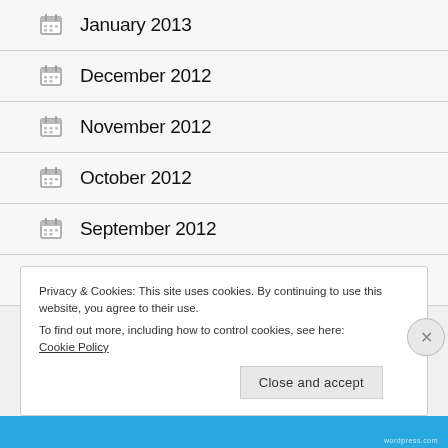January 2013
December 2012
November 2012
October 2012
September 2012
August 2012
Privacy & Cookies: This site uses cookies. By continuing to use this website, you agree to their use. To find out more, including how to control cookies, see here: Cookie Policy
Close and accept